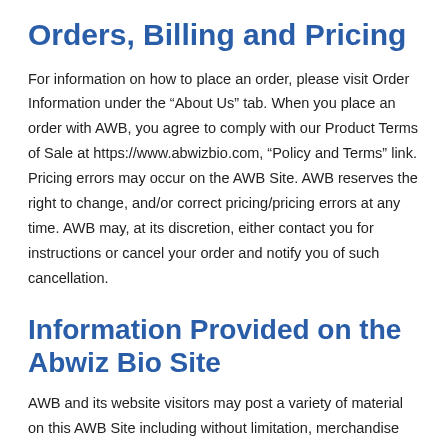Orders, Billing and Pricing
For information on how to place an order, please visit Order Information under the “About Us” tab. When you place an order with AWB, you agree to comply with our Product Terms of Sale at https://www.abwizbio.com, “Policy and Terms” link. Pricing errors may occur on the AWB Site. AWB reserves the right to change, and/or correct pricing/pricing errors at any time. AWB may, at its discretion, either contact you for instructions or cancel your order and notify you of such cancellation.
Information Provided on the Abwiz Bio Site
AWB and its website visitors may post a variety of material on this AWB Site including without limitation, merchandise